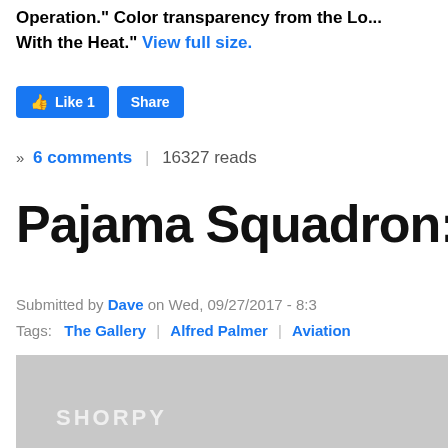Operation." Color transparency from the Lo... With the Heat." View full size.
[Figure (screenshot): Facebook Like and Share buttons]
» 6 comments | 16327 reads
Pajama Squadron:
Submitted by Dave on Wed, 09/27/2017 - 8:3
Tags: The Gallery | Alfred Palmer | Aviation
[Figure (photo): Grayscale photo with SHORPY watermark]